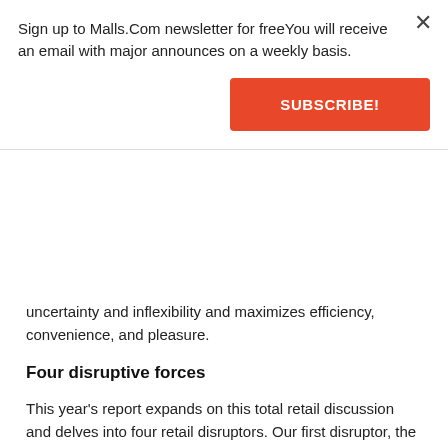Sign up to Malls.Com newsletter for freeYou will receive an email with major announces on a weekly basis.
SUBSCRIBE!
uncertainty and inflexibility and maximizes efficiency, convenience, and pleasure.
Four disruptive forces
This year's report expands on this total retail discussion and delves into four retail disruptors. Our first disruptor, the evolution of the store, can be thought of more as a business model evolution. Our second and third disruptors mobile technology and social networks are technological. A fourth demographic shifts is more socio-economic.
Our first disruptor is centered on an institution as old as modern shopping itself: the store. It's certainly true that the physical store remains the retail touch point with the highest frequency. More than one in three (36%) of our global sample goes to a